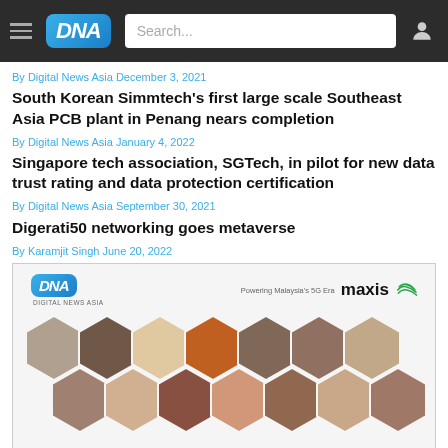DNA Digital News Asia
By Digital News Asia December 3, 2021
South Korean Simmtech's first large scale Southeast Asia PCB plant in Penang nears completion
By Digital News Asia January 4, 2022
Singapore tech association, SGTech, in pilot for new data trust rating and data protection certification
By Digital News Asia September 30, 2021
Digerati50 networking goes metaverse
By Karamjit Singh June 20, 2022
[Figure (photo): Digerati50 networking event promotional image featuring DNA logo, Maxis branding, and hexagonal portrait photos of multiple attendees]